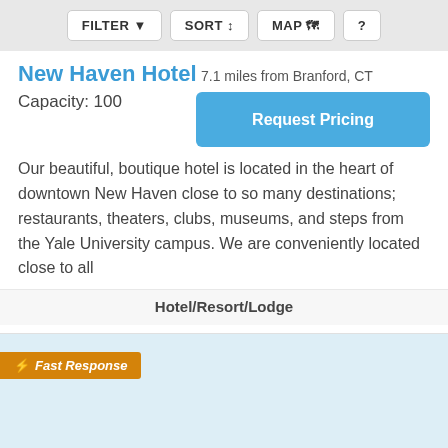FILTER | SORT | MAP | ?
New Haven Hotel
7.1 miles from Branford, CT
Capacity: 100
Request Pricing
Our beautiful, boutique hotel is located in the heart of downtown New Haven close to so many destinations; restaurants, theaters, clubs, museums, and steps from the Yale University campus. We are conveniently located close to all
Hotel/Resort/Lodge
⚡ Fast Response